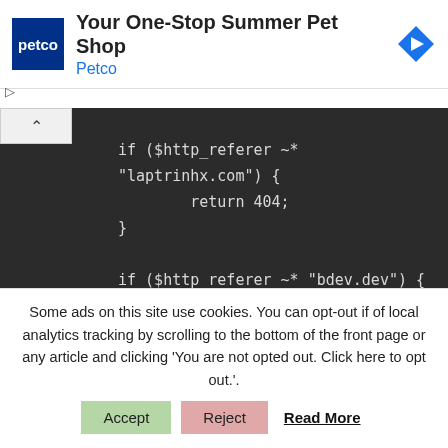[Figure (screenshot): Petco ad banner with logo, title 'Your One-Stop Summer Pet Shop', subtitle 'Petco', and navigation arrow icon]
[Figure (screenshot): Dark code editor block showing nginx/server config code with if ($http_referer ~* conditions returning 404 for laptrinhx.com and bdev.dev]
Some ads on this site use cookies. You can opt-out if of local analytics tracking by scrolling to the bottom of the front page or any article and clicking 'You are not opted out. Click here to opt out.'.